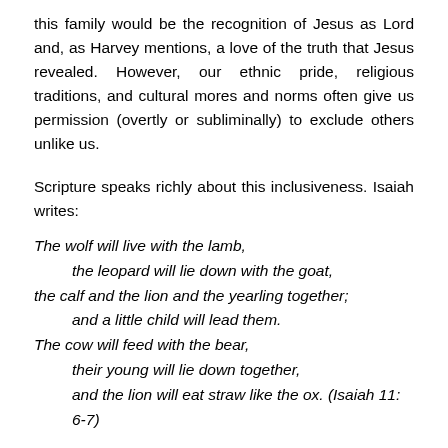this family would be the recognition of Jesus as Lord and, as Harvey mentions, a love of the truth that Jesus revealed. However, our ethnic pride, religious traditions, and cultural mores and norms often give us permission (overtly or subliminally) to exclude others unlike us.
Scripture speaks richly about this inclusiveness. Isaiah writes:
The wolf will live with the lamb, the leopard will lie down with the goat, the calf and the lion and the yearling together; and a little child will lead them. The cow will feed with the bear, their young will lie down together, and the lion will eat straw like the ox. (Isaiah 11: 6-7)